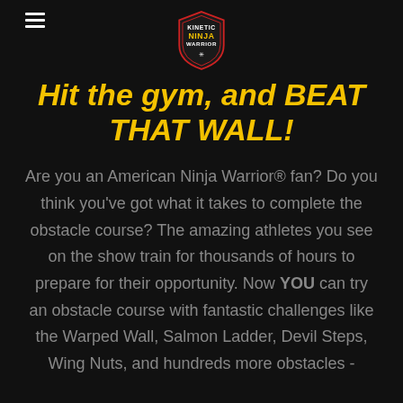Kinetic Ninja Warrior (logo)
Hit the gym, and BEAT THAT WALL!
Are you an American Ninja Warrior® fan? Do you think you've got what it takes to complete the obstacle course? The amazing athletes you see on the show train for thousands of hours to prepare for their opportunity. Now YOU can try an obstacle course with fantastic challenges like the Warped Wall, Salmon Ladder, Devil Steps, Wing Nuts, and hundreds more obstacles -